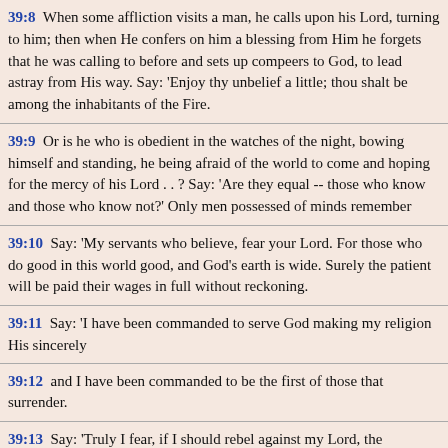39:8 When some affliction visits a man, he calls upon his Lord, turning to him; then when He confers on him a blessing from Him he forgets that he was calling to before and sets up compeers to God, to lead astray from His way. Say: 'Enjoy thy unbelief a little; thou shalt be among the inhabitants of the Fire.
39:9 Or is he who is obedient in the watches of the night, bowing himself and standing, he being afraid of the world to come and hoping for the mercy of his Lord . . ? Say: 'Are they equal -- those who know and those who know not?' Only men possessed of minds remember
39:10 Say: 'My servants who believe, fear your Lord. For those who do good in this world good, and God's earth is wide. Surely the patient will be paid their wages in full without reckoning.
39:11 Say: 'I have been commanded to serve God making my religion His sincerely
39:12 and I have been commanded to be the first of those that surrender.
39:13 Say: 'Truly I fear, if I should rebel against my Lord, the chastisement of a dreadful day.
39:14 Say: 'God I serve, making my religion His sincerely
39:15 so serve what you will apart from Him.' Say: 'Surely the